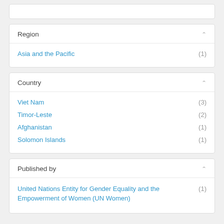Region
Asia and the Pacific (1)
Country
Viet Nam (3)
Timor-Leste (2)
Afghanistan (1)
Solomon Islands (1)
Published by
United Nations Entity for Gender Equality and the Empowerment of Women (UN Women) (1)